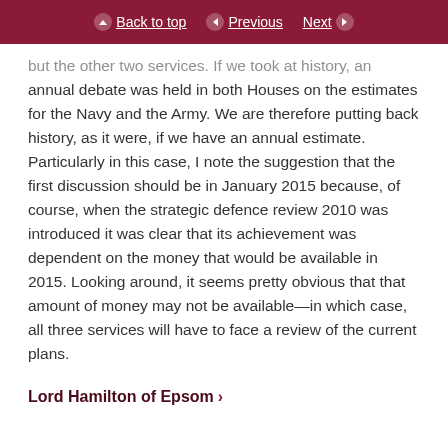Back to top | Previous | Next
but the other two services. If we took at history, an annual debate was held in both Houses on the estimates for the Navy and the Army. We are therefore putting back history, as it were, if we have an annual estimate. Particularly in this case, I note the suggestion that the first discussion should be in January 2015 because, of course, when the strategic defence review 2010 was introduced it was clear that its achievement was dependent on the money that would be available in 2015. Looking around, it seems pretty obvious that that amount of money may not be available—in which case, all three services will have to face a review of the current plans.
Lord Hamilton of Epsom